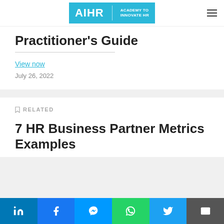AIHR | ACADEMY TO INNOVATE HR
Practitioner's Guide
View now
July 26, 2022
RELATED
7 HR Business Partner Metrics Examples
LinkedIn Facebook Messenger WhatsApp Twitter Email